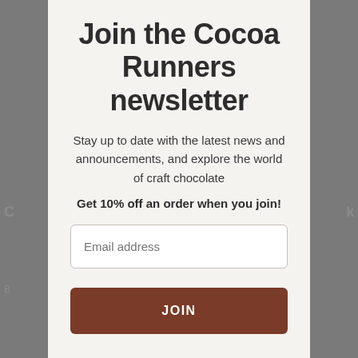Join the Cocoa Runners newsletter
Stay up to date with the latest news and announcements, and explore the world of craft chocolate
Get 10% off an order when you join!